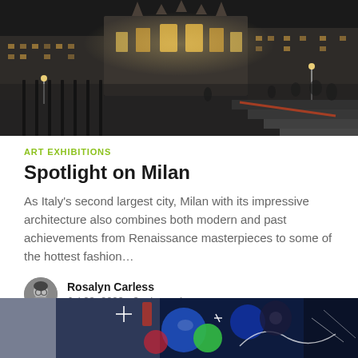[Figure (photo): Night photo of Milan's Piazza del Duomo with the illuminated cathedral in the background, stairs in the foreground, and people walking in the square]
ART EXHIBITIONS
Spotlight on Milan
As Italy's second largest city, Milan with its impressive architecture also combines both modern and past achievements from Renaissance masterpieces to some of the hottest fashion…
Rosalyn Carless
Jul 29, 2022 • 3 min read
[Figure (photo): Colorful modern art or technology themed image with blue tones, geometric shapes, and abstract elements partially visible at the bottom of the page]